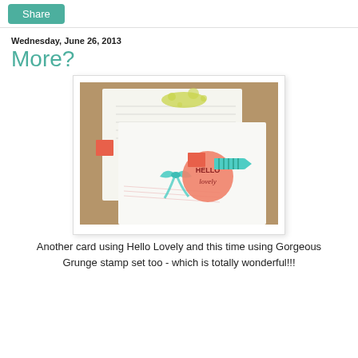Share
Wednesday, June 26, 2013
More?
[Figure (photo): Two handmade greeting cards on a wooden surface. The front card features coral/salmon and teal/mint colours with a large stamped circle that reads 'HELLO lovely', decorated with a teal ribbon bow and striped banner. The background card shows yellow-green grunge ink splatters and light pink line patterns.]
Another card using Hello Lovely and this time using Gorgeous Grunge stamp set too - which is totally wonderful!!!